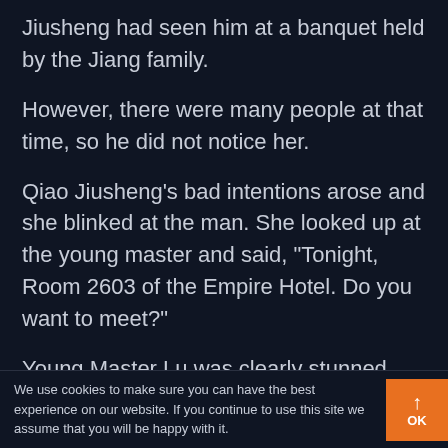Jiusheng had seen him at a banquet held by the Jiang family.
However, there were many people at that time, so he did not notice her.
Qiao Jiusheng’s bad intentions arose and she blinked at the man. She looked up at the young master and said, “Tonight, Room 2603 of the Empire Hotel. Do you want to meet?”
Young Master Lu was clearly stunned.
We use cookies to make sure you can have the best experience on our website. If you continue to use this site we assume that you will be happy with it.